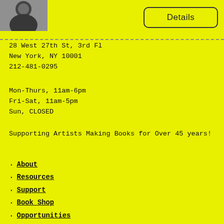[Figure (photo): Black and white photograph of a person in dark clothing, cropped at top left of page]
Details
28 West 27th St, 3rd Fl
New York, NY 10001
212-481-0295
Mon-Thurs, 11am-6pm
Fri-Sat, 11am-5pm
Sun, CLOSED
Supporting Artists Making Books for Over 45 years!
About
Resources
Support
Book Shop
Opportunities